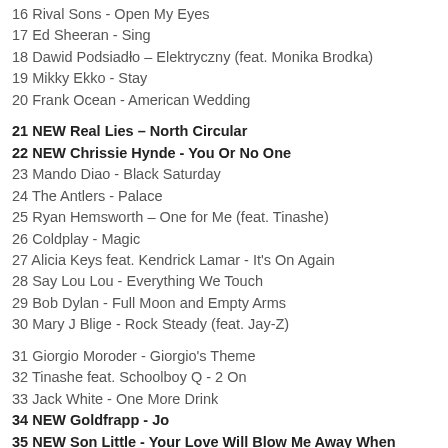16 Rival Sons - Open My Eyes
17 Ed Sheeran - Sing
18 Dawid Podsiadło – Elektryczny (feat. Monika Brodka)
19 Mikky Ekko - Stay
20 Frank Ocean - American Wedding
21 NEW Real Lies – North Circular
22 NEW Chrissie Hynde - You Or No One
23 Mando Diao - Black Saturday
24 The Antlers - Palace
25 Ryan Hemsworth – One for Me (feat. Tinashe)
26 Coldplay - Magic
27 Alicia Keys feat. Kendrick Lamar - It's On Again
28 Say Lou Lou - Everything We Touch
29 Bob Dylan - Full Moon and Empty Arms
30 Mary J Blige - Rock Steady (feat. Jay-Z)
31 Giorgio Moroder - Giorgio's Theme
32 Tinashe feat. Schoolboy Q - 2 On
33 Jack White - One More Drink
34 NEW Goldfrapp - Jo
35 NEW Son Little - Your Love Will Blow Me Away When